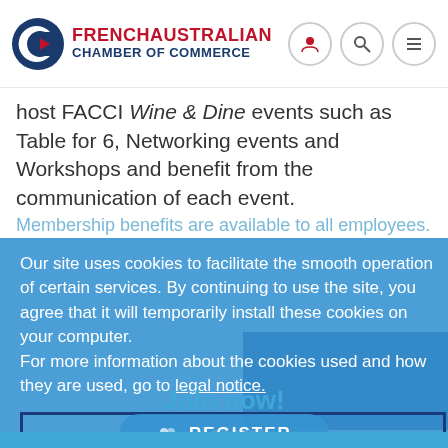[Figure (logo): French Australian Chamber of Commerce logo with stylized C icon in blue and red, followed by bold red and blue text]
host FACCI Wine & Dine events such as Table for 6, Networking events and Workshops and benefit from the communication of each event.
Membership benefits are available to all employees.
Our site uses cookies to facilitate the smooth operation of certain services. By continuing to use the site, you agree that it will temporarily install these cookies on your computer.
For more information about the cookies used and how they are used, go to legal notice.
I accept
Join now!
REGISTER